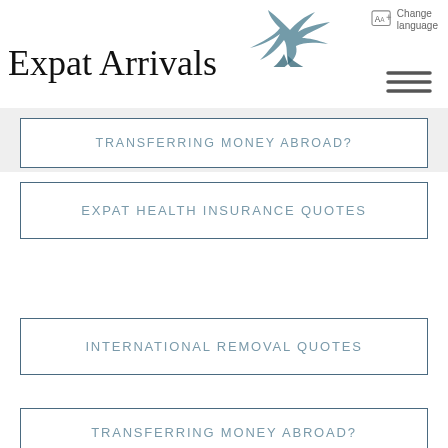[Figure (logo): Expat Arrivals logo with a stylized swallow bird above and to the right of the text 'Expat Arrivals']
Change language
[Figure (illustration): Hamburger menu icon (three horizontal lines)]
TRANSFERRING MONEY ABROAD?
EXPAT HEALTH INSURANCE QUOTES
INTERNATIONAL REMOVAL QUOTES
TRANSFERRING MONEY ABROAD?